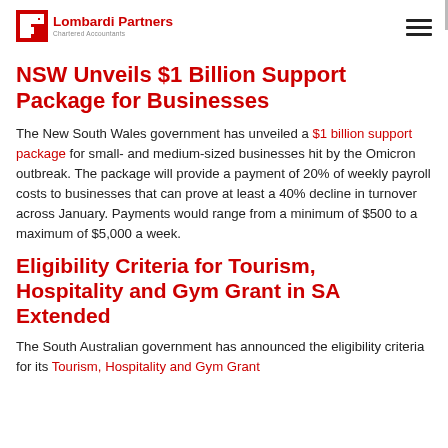Lombardi Partners Chartered Accountants
NSW Unveils $1 Billion Support Package for Businesses
The New South Wales government has unveiled a $1 billion support package for small- and medium-sized businesses hit by the Omicron outbreak. The package will provide a payment of 20% of weekly payroll costs to businesses that can prove at least a 40% decline in turnover across January. Payments would range from a minimum of $500 to a maximum of $5,000 a week.
Eligibility Criteria for Tourism, Hospitality and Gym Grant in SA Extended
The South Australian government has announced the eligibility criteria for its Tourism, Hospitality and Gym Grant